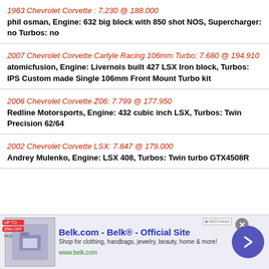1963 Chevrolet Corvette : 7.230 @ 188.000
phil osman, Engine: 632 big block with 850 shot NOS, Supercharger: no Turbos: no
2007 Chevrolet Corvette Carlyle Racing 106mm Turbo: 7.680 @ 194.910
atomicfusion, Engine: Livernois built 427 LSX Iron block, Turbos: IPS Custom made Single 106mm Front Mount Turbo kit
2006 Chevrolet Corvette Z06: 7.799 @ 177.950
Redline Motorsports, Engine: 432 cubic inch LSX, Turbos: Twin Precision 62/64
2002 Chevrolet Corvette LSX: 7.847 @ 179.000
Andrey Mulenko, Engine: LSX 408, Turbos: Twin turbo GTX4508R
[Figure (screenshot): Advertisement banner for Belk.com - Belk Official Site, showing clothing/home goods imagery with logo, description text and forward arrow button]